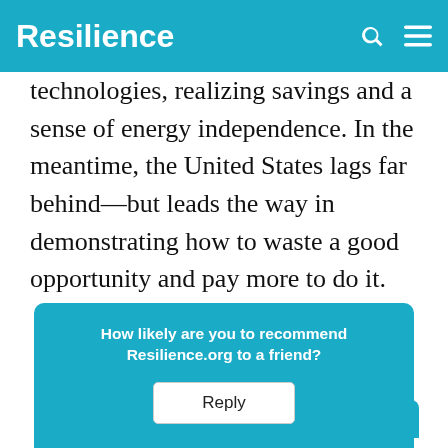Resilience
technologies, realizing savings and a sense of energy independence. In the meantime, the United States lags far behind—but leads the way in demonstrating how to waste a good opportunity and pay more to do it.
How likely are you to recommend Resilience.org to a friend? Reply